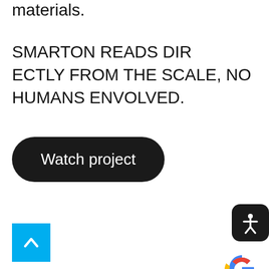materials.
SMARTON READS DIRECTLY FROM THE SCALE, NO HUMANS ENVOLVED.
[Figure (other): Black rounded pill button with white text reading 'Watch project']
[Figure (other): Accessibility icon - dark rounded square with white person/stick figure icon]
[Figure (other): Google Rating widget with Google logo G and five orange stars]
[Figure (other): Cyan/blue square button with white upward chevron arrow]